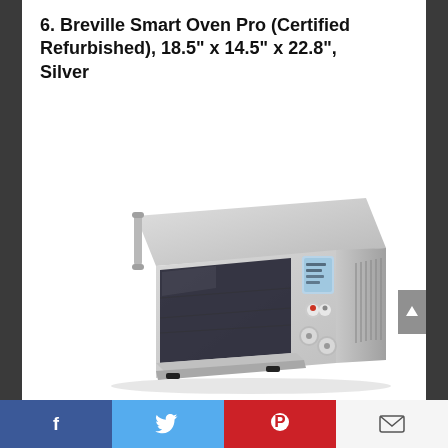6. Breville Smart Oven Pro (Certified Refurbished), 18.5" x 14.5" x 22.8", Silver
[Figure (photo): Breville Smart Oven Pro toaster oven in silver stainless steel finish, shown at an angle with the door slightly open, LCD display panel visible on the right side, ventilation slots on the far right, and control knobs on the front face.]
Facebook | Twitter | Pinterest | Email